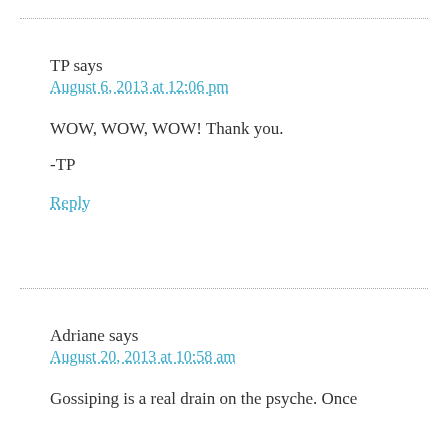TP says
August 6, 2013 at 12:06 pm
WOW, WOW, WOW! Thank you.
-TP
Reply
Adriane says
August 20, 2013 at 10:58 am
Gossiping is a real drain on the psyche. Once